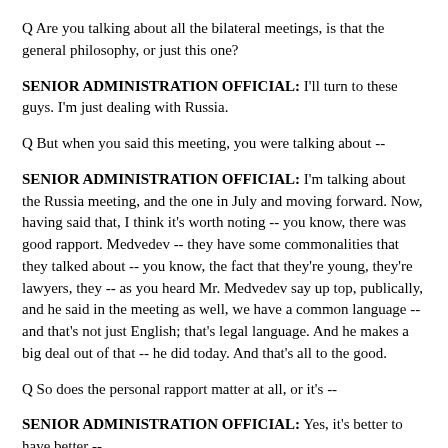Q Are you talking about all the bilateral meetings, is that the general philosophy, or just this one?
SENIOR ADMINISTRATION OFFICIAL: I'll turn to these guys. I'm just dealing with Russia.
Q But when you said this meeting, you were talking about --
SENIOR ADMINISTRATION OFFICIAL: I'm talking about the Russia meeting, and the one in July and moving forward. Now, having said that, I think it's worth noting -- you know, there was good rapport. Medvedev -- they have some commonalities that they talked about -- you know, the fact that they're young, they're lawyers, they -- as you heard Mr. Medvedev say up top, publically, and he said in the meeting as well, we have a common language -- and that's not just English; that's legal language. And he makes a big deal out of that -- he did today. And that's all to the good.
Q So does the personal rapport matter at all, or it's --
SENIOR ADMINISTRATION OFFICIAL: Yes, it's better to have better --
Q -- not as important as everyone --